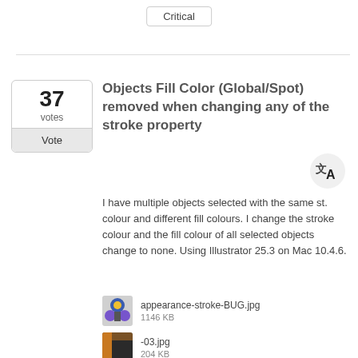Critical
Objects Fill Color (Global/Spot) removed when changing any of the stroke property
I have multiple objects selected with the same st. colour and different fill colours. I change the stroke colour and the fill colour of all selected objects change to none. Using Illustrator 25.3 on Mac 10.4.6.
[Figure (photo): Thumbnail of appearance-stroke-BUG.jpg]
appearance-stroke-BUG.jpg
1146 KB
[Figure (photo): Thumbnail of -03.jpg]
-03.jpg
204 KB
[Figure (photo): Thumbnail of -01.jpg]
-01.jpg
206 KB
[Figure (photo): Thumbnail of -02.jpg]
-02.jpg
230 KB